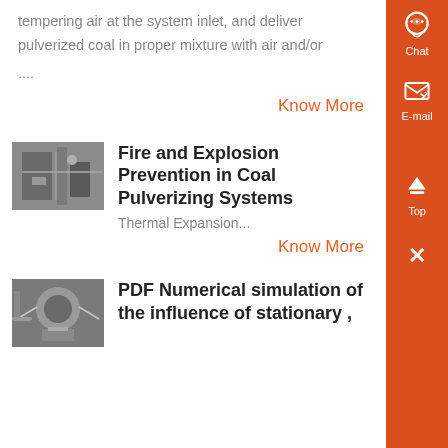tempering air at the system inlet, and deliver pulverized coal in proper mixture with air and/or
....
Know More
Fire and Explosion Prevention in Coal Pulverizing Systems
[Figure (photo): Industrial coal pulverizing system equipment, pipes and machinery]
Thermal Expansion...
Know More
PDF Numerical simulation of the influence of stationary ,
[Figure (photo): Large industrial equipment, possibly a coal mill or pulverizer]